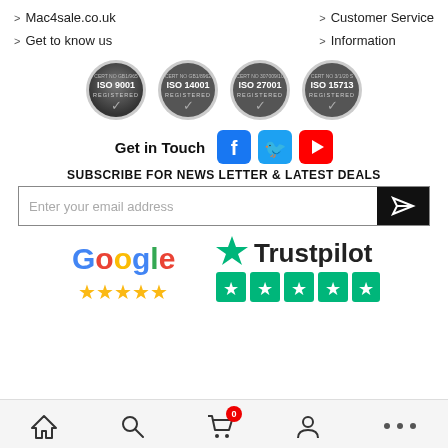> Mac4sale.co.uk
> Customer Service
> Get to know us
> Information
[Figure (logo): Four ISO certification badges: ISO 9001 Registered, ISO 14001 Registered, ISO 27001 Registered, ISO 15713 Registered]
Get in Touch
[Figure (logo): Facebook, Twitter, and YouTube social media icons]
SUBSCRIBE FOR NEWS LETTER & LATEST DEALS
Enter your email address
[Figure (logo): Google logo with 5 gold stars rating and Trustpilot logo with 5 green star rating boxes]